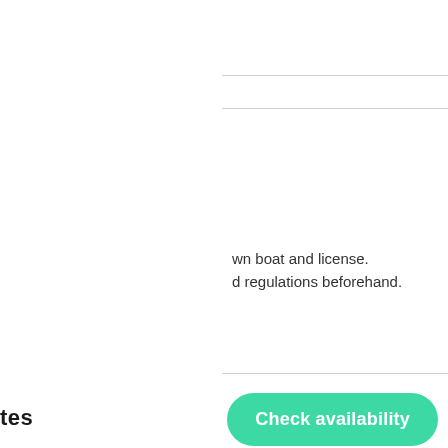wn boat and license.
d regulations beforehand.
tes
Check availability